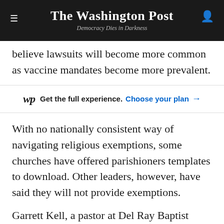The Washington Post — Democracy Dies in Darkness
believe lawsuits will become more common as vaccine mandates become more prevalent.
[Figure (infographic): Washington Post subscription promo bar: WP logo, 'Get the full experience. Choose your plan →']
With no nationally consistent way of navigating religious exemptions, some churches have offered parishioners templates to download. Other leaders, however, have said they will not provide exemptions.
Garrett Kell, a pastor at Del Ray Baptist Church in Alexandria, Va., said he's been asked a few times to provide religious exemption forms, but he decided to decline since the individuals weren't members of his